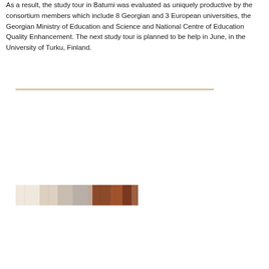As a result, the study tour in Batumi was evaluated as uniquely productive by the consortium members which include 8 Georgian and 3 European universities, the Georgian Ministry of Education and Science and National Centre of Education Quality Enhancement. The next study tour is planned to be help in June, in the University of Turku, Finland.
[Figure (photo): A horizontal photo strip showing people at what appears to be a study tour event, with light/beige tones on the left and warm brown/wood tones on the right.]